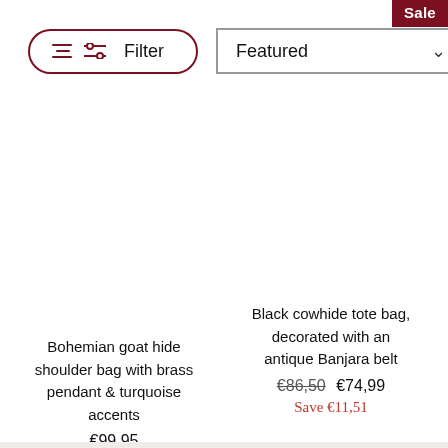Sale
Filter
Featured
Black cowhide tote bag, decorated with an antique Banjara belt
€86,50  €74,99
Save €11,51
Bohemian goat hide shoulder bag with brass pendant & turquoise accents
€99,95